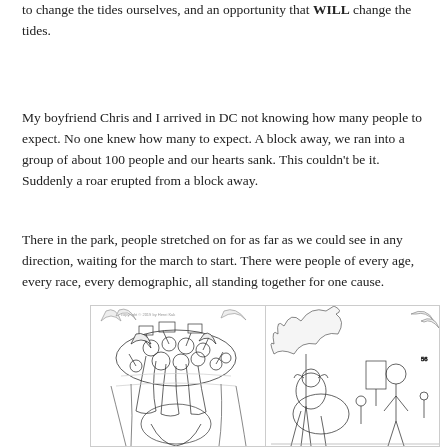to change the tides ourselves, and an opportunity that WILL change the tides.
My boyfriend Chris and I arrived in DC not knowing how many people to expect. No one knew how many to expect. A block away, we ran into a group of about 100 people and our hearts sank. This couldn't be it. Suddenly a roar erupted from a block away.
There in the park, people stretched on for as far as we could see in any direction, waiting for the march to start. There were people of every age, every race, every demographic, all standing together for one cause.
[Figure (illustration): Two side-by-side line drawings depicting a crowd scene with people at what appears to be a march or rally, with trees and figures visible. Copyright 2019 by Henri Kak noted in first panel.]